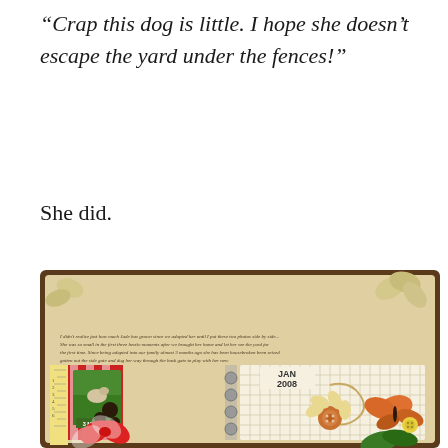“Crap this dog is little. I hope she doesn’t escape the yard under the fences!”
She did.
[Figure (photo): A decorative scrapbook page spread with vintage/aged paper background, featuring a photo of a small dog on grass labeled '3 MONTHS', decorative elements including a ruler, red and white striped bow, pawprint, butterfly, flower embellishments, a button, and calendar notation 'JAN 2008'. Handwritten journaling text appears at the top of the scrapbook page.]